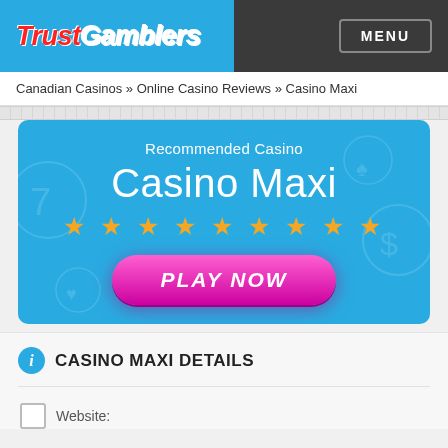TrustGamblers | MENU
Canadian Casinos » Online Casino Reviews » Casino Maxi
[Figure (infographic): Blue casino banner with 'Recommended Casino', 'Casino Maxi' title, 9 gold stars, and a pink 'PLAY NOW' button on a sky-blue background with faint casino icons]
CASINO MAXI DETAILS
Website: